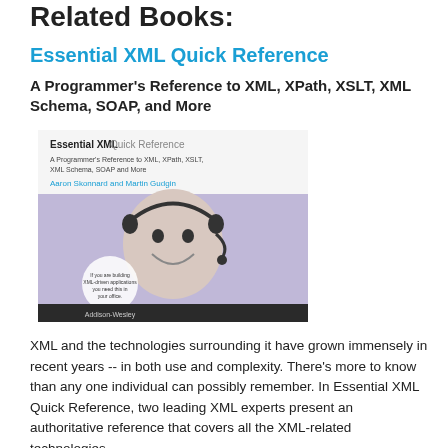Related Books:
Essential XML Quick Reference
A Programmer's Reference to XML, XPath, XSLT, XML Schema, SOAP, and More
[Figure (photo): Book cover of Essential XML Quick Reference showing a person smiling with a headset, lavender background, with book title and author text at top.]
XML and the technologies surrounding it have grown immensely in recent years -- in both use and complexity. There's more to know than any one individual can possibly remember. In Essential XML Quick Reference, two leading XML experts present an authoritative reference that covers all the XML-related technologies